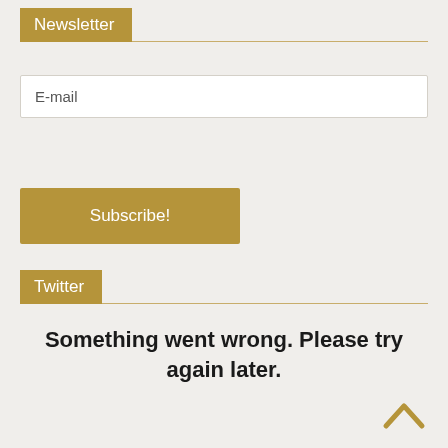Newsletter
E-mail
Subscribe!
Twitter
Something went wrong. Please try again later.